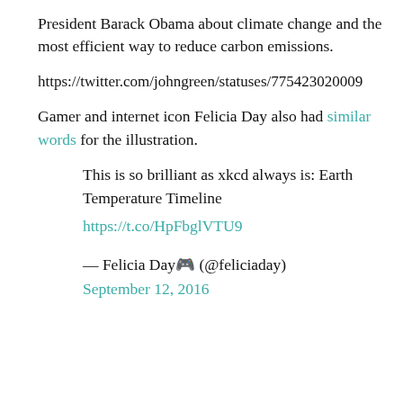President Barack Obama about climate change and the most efficient way to reduce carbon emissions.
https://twitter.com/johngreen/statuses/775423020009
Gamer and internet icon Felicia Day also had similar words for the illustration.
This is so brilliant as xkcd always is: Earth Temperature Timeline https://t.co/HpFbglVTU9
— Felicia Day🎮 (@feliciaday) September 12, 2016